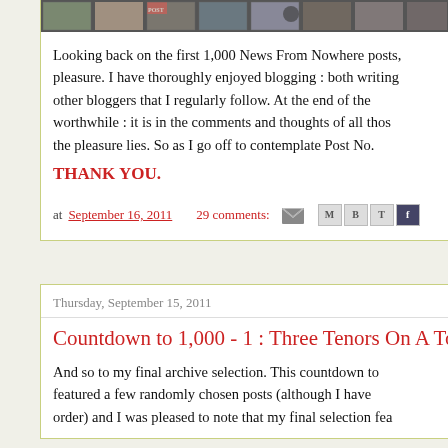[Figure (photo): Horizontal photo strip showing multiple small thumbnail images of various scenes]
Looking back on the first 1,000 News From Nowhere posts, pleasure. I have thoroughly enjoyed blogging : both writing other bloggers that I regularly follow. At the end of the worthwhile : it is in the comments and thoughts of all those the pleasure lies. So as I go off to contemplate Post No.
THANK YOU.
at September 16, 2011   29 comments:
Thursday, September 15, 2011
Countdown to 1,000 - 1 : Three Tenors On A To
And so to my final archive selection. This countdown to featured a few randomly chosen posts (although I have order) and I was pleased to note that my final selection fea